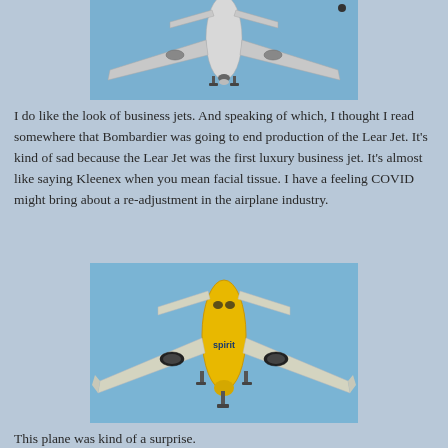[Figure (photo): Bottom view of a white business jet aircraft in flight against a blue sky, landing gear visible.]
I do like the look of business jets.  And speaking of which, I thought I read somewhere that Bombardier was going to end production of the Lear Jet.  It's kind of sad because the Lear Jet was the first luxury business jet.  It's almost like saying Kleenex when you mean facial tissue.  I have a feeling COVID might bring about a re-adjustment in the airplane industry.
[Figure (photo): A yellow commercial airliner (Spirit Airlines style) photographed from below and front, in flight against a blue sky, landing gear extended.]
This plane was kind of a surprise.